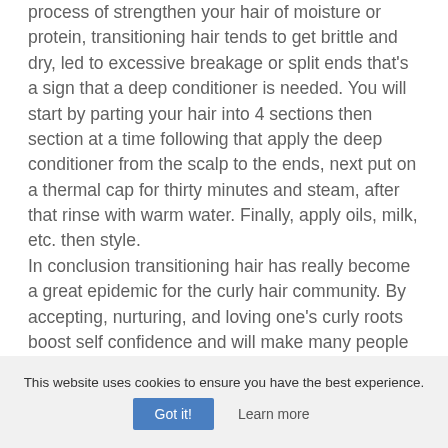process of strengthen your hair of moisture or protein, transitioning hair tends to get brittle and dry, led to excessive breakage or split ends that's a sign that a deep conditioner is needed. You will start by parting your hair into 4 sections then section at a time following that apply the deep conditioner from the scalp to the ends, next put on a thermal cap for thirty minutes and steam, after that rinse with warm water. Finally, apply oils, milk, etc. then style.
In conclusion transitioning hair has really become a great epidemic for the curly hair community. By accepting, nurturing, and loving one's curly roots boost self confidence and will make many people happy in life. A wash day is the most important part in keeping one's hair happy strong and healthy, HAPPY NATURAL HAIR ALL 2K19!
This website uses cookies to ensure you have the best experience. Got it! Learn more